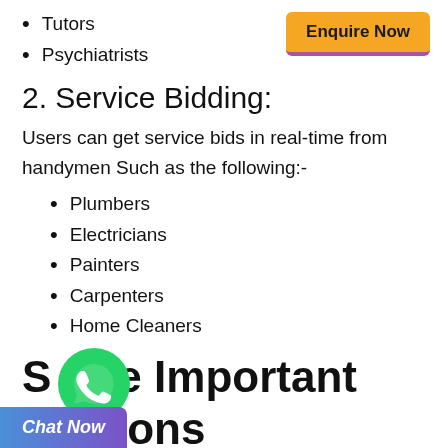Tutors
Psychiatrists
[Figure (other): Orange Enquire Now button with purple bottom border]
2. Service Bidding:
Users can get service bids in real-time from handymen Such as the following:-
Plumbers
Electricians
Painters
Carpenters
Home Cleaners
Some Important Reasons Why Gojek Clone Is So
[Figure (other): WhatsApp green circle icon]
[Figure (other): Chat Now button with blue-purple gradient]